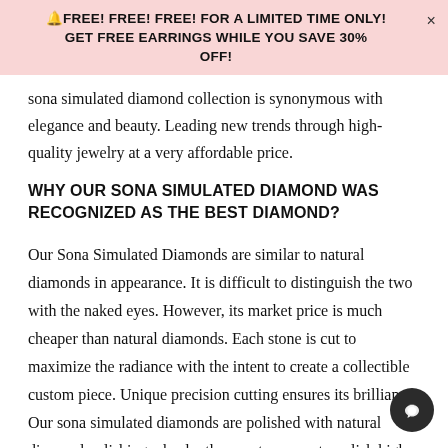🔔FREE! FREE! FREE! FOR A LIMITED TIME ONLY! × GET FREE EARRINGS WHILE YOU SAVE 30% OFF!
sona simulated diamond collection is synonymous with elegance and beauty. Leading new trends through high-quality jewelry at a very affordable price.
WHY OUR SONA SIMULATED DIAMOND WAS RECOGNIZED AS THE BEST DIAMOND?
Our Sona Simulated Diamonds are similar to natural diamonds in appearance. It is difficult to distinguish the two with the naked eyes. However, its market price is much cheaper than natural diamonds. Each stone is cut to maximize the radiance with the intent to create a collectible custom piece. Unique precision cutting ensures its brilliance. Our sona simulated diamonds are polished with natural diamond polishing wheels- the exact process to polish high-quality natural stones. Exp diamond cutters guarantee that our Sona Simulated Diamonds